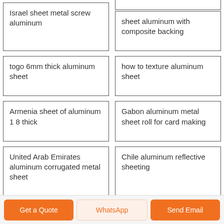Israel sheet metal screw aluminum
sheet aluminum with composite backing
togo 6mm thick aluminum sheet
how to texture aluminum sheet
Armenia sheet of aluminum 1 8 thick
Gabon aluminum metal sheet roll for card making
United Arab Emirates aluminum corrugated metal sheet
Chile aluminum reflective sheeting
Get a Quote  WhatsApp  Send Email